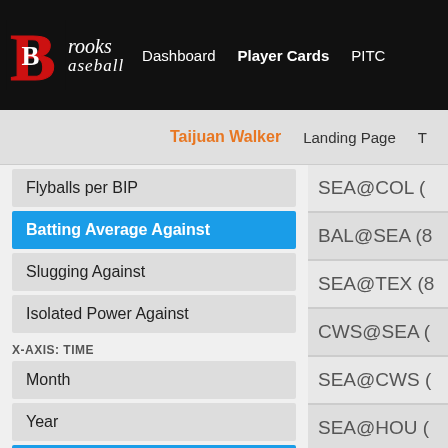Brooks Baseball — Dashboard | Player Cards | PITC...
Taijuan Walker | Landing Page | T...
Flyballs per BIP
Batting Average Against
Slugging Against
Isolated Power Against
X-AXIS: TIME
Month
Year
Game
Inning
Times Through The Order
SEA@COL (
BAL@SEA (8
SEA@TEX (8
CWS@SEA (
SEA@CWS (
SEA@HOU (
TEX@SEA (9
LAA@SEA (9